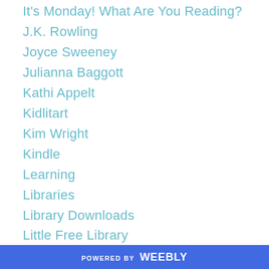It's Monday! What Are You Reading?
J.K. Rowling
Joyce Sweeney
Julianna Baggott
Kathi Appelt
Kidlitart
Kim Wright
Kindle
Learning
Libraries
Library Downloads
Little Free Library
Lois Lowry
Maggie Stiefvater
MG Books
Michael Koryta
Motivation
POWERED BY weebly